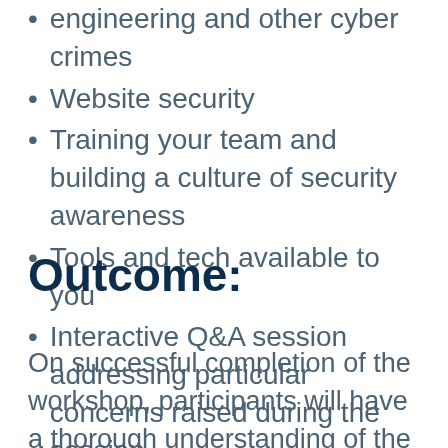engineering and other cyber crimes
Website security
Training your team and building a culture of security awareness
Tools and tech available to you
Interactive Q&A session addressing particular concerns raised during the session
Outcome:
On successful completion of the workshop, participants will have a thorough understanding of the risks and you will